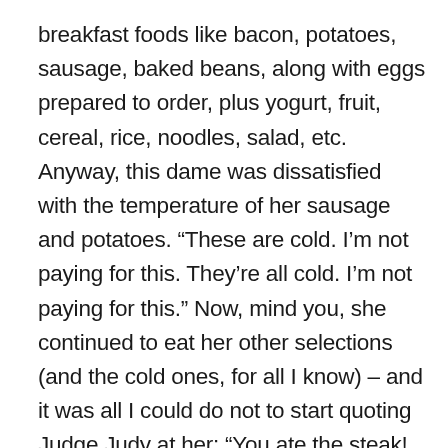breakfast foods like bacon, potatoes, sausage, baked beans, along with eggs prepared to order, plus yogurt, fruit, cereal, rice, noodles, salad, etc. Anyway, this dame was dissatisfied with the temperature of her sausage and potatoes. “These are cold. I’m not paying for this. They’re all cold. I’m not paying for this.” Now, mind you, she continued to eat her other selections (and the cold ones, for all I know) – and it was all I could do not to start quoting Judge Judy at her: “You ate the steak! You have to pay for it now.” Anyway, she was terrible to every one of the apologetic staff she spoke to – each time reiterating, “I’m not paying for this.”